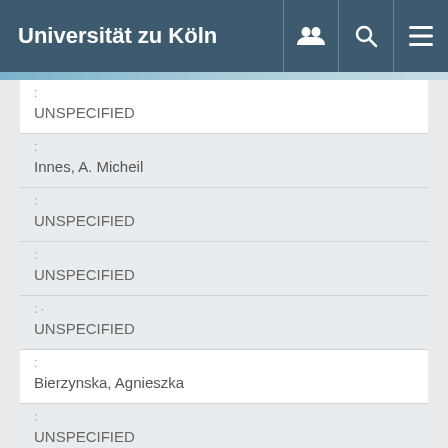Universität zu Köln
| Label | Value |
| --- | --- |
| : | UNSPECIFIED |
| : | Innes, A. Micheil |
| : | UNSPECIFIED |
| : | UNSPECIFIED |
| :· | UNSPECIFIED |
| : | Bierzynska, Agnieszka |
| : | UNSPECIFIED |
| : |  |